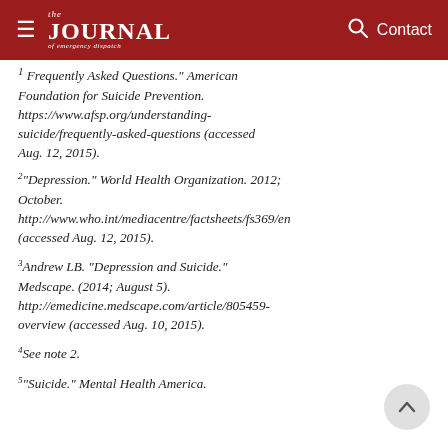the JOURNAL of emergency dispatch | Contact
1 Frequently Asked Questions. American Foundation for Suicide Prevention. https://www.afsp.org/understanding-suicide/frequently-asked-questions (accessed Aug. 12, 2015).
2 "Depression." World Health Organization. 2012; October. http://www.who.int/mediacentre/factsheets/fs369/en (accessed Aug. 12, 2015).
3 Andrew LB. "Depression and Suicide." Medscape. (2014; August 5). http://emedicine.medscape.com/article/805459-overview (accessed Aug. 10, 2015).
4 See note 2.
5 "Suicide." Mental Health America.